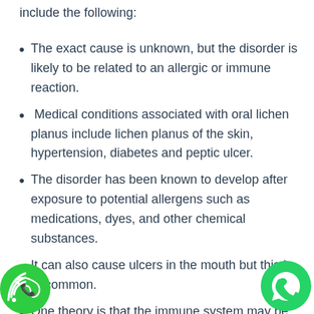include the following:
The exact cause is unknown, but the disorder is likely to be related to an allergic or immune reaction.
Medical conditions associated with oral lichen planus include lichen planus of the skin, hypertension, diabetes and peptic ulcer.
The disorder has been known to develop after exposure to potential allergens such as medications, dyes, and other chemical substances.
It can also cause ulcers in the mouth but this is uncommon.
One theory is that the immune system may be 'triggered' by a virus or other factor in the environment to attack cells on the skin which